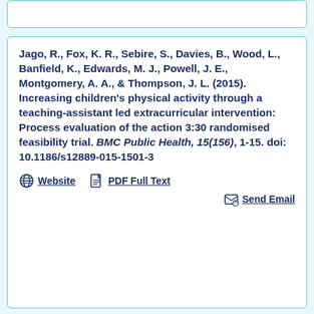Jago, R., Fox, K. R., Sebire, S., Davies, B., Wood, L., Banfield, K., Edwards, M. J., Powell, J. E., Montgomery, A. A., & Thompson, J. L. (2015). Increasing children's physical activity through a teaching-assistant led extracurricular intervention: Process evaluation of the action 3:30 randomised feasibility trial. BMC Public Health, 15(156), 1-15. doi: 10.1186/s12889-015-1501-3
Website
PDF Full Text
Send Email